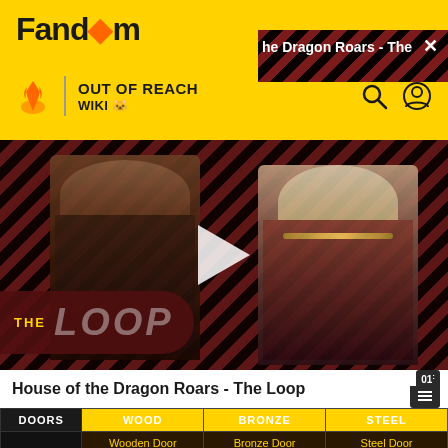Fandom
[Figure (screenshot): Fandom wiki header bar with fire icon, OUT OF REACH WIKI label, search and user icons on yellow background. Diagonal stripe overlay with text 'he Dragon Roars - The L' and X close button.]
[Figure (screenshot): Video player showing House of the Dragon characters with THE LOOP logo overlay and play button in center. Striped dark red background pattern.]
House of the Dragon Roars - The Loop
| DOORS | WOOD | BRONZE | STEEL |
| --- | --- | --- | --- |
|  | Wooden Door | Bronze Door | Steel Door |